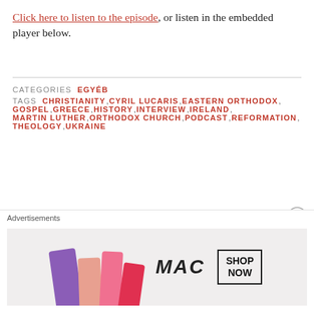Click here to listen to the episode, or listen in the embedded player below.
CATEGORIES  EGYÉB
TAGS  CHRISTIANITY, CYRIL LUCARIS, EASTERN ORTHODOX, GOSPEL, GREECE, HISTORY, INTERVIEW, IRELAND, MARTIN LUTHER, ORTHODOX CHURCH, PODCAST, REFORMATION, THEOLOGY, UKRAINE
Thanksgiving Shapes Us in More than One Way
[Figure (illustration): MAC cosmetics advertisement showing lipsticks in purple, pink, and red colors with MAC logo and SHOP NOW button]